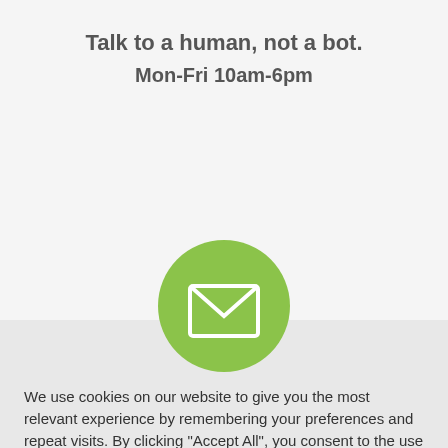Talk to a human, not a bot.
Mon-Fri 10am-6pm
[Figure (illustration): Green circle with a white envelope/mail icon in the center]
We use cookies on our website to give you the most relevant experience by remembering your preferences and repeat visits. By clicking "Accept All", you consent to the use of cookies.
Cookie Settings  Accept All